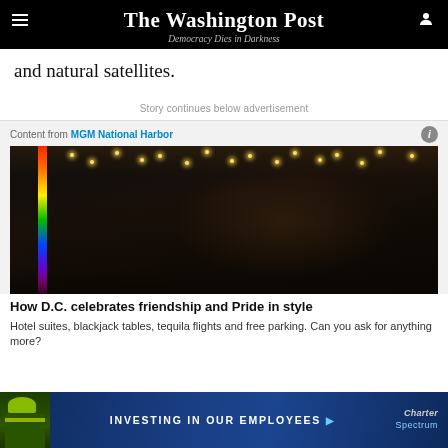The Washington Post — Democracy Dies in Darkness
and natural satellites.
Story continues below advertisement
Content from MGM National Harbor
[Figure (photo): Group of four people walking out of MGM National Harbor entrance, with rainbow strip decoration on left side, warm lighting above]
How D.C. celebrates friendship and Pride in style
Hotel suites, blackjack tables, tequila flights and free parking. Can you ask for anything more?
[Figure (infographic): Charter Spectrum advertisement banner: INVESTING IN OUR EMPLOYEES with arrow, worker in hard hat on left]